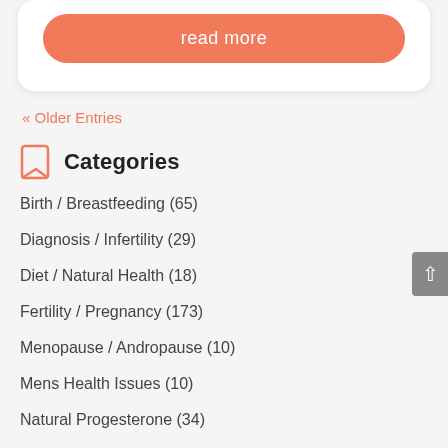read more
« Older Entries
Categories
Birth / Breastfeeding (65)
Diagnosis / Infertility (29)
Diet / Natural Health (18)
Fertility / Pregnancy (173)
Menopause / Andropause (10)
Mens Health Issues (10)
Natural Progesterone (34)